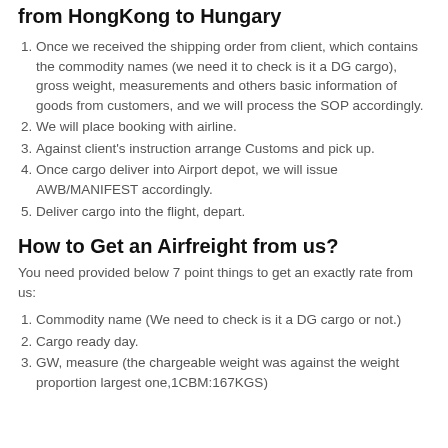from HongKong to Hungary
Once we received the shipping order from client, which contains the commodity names (we need it to check is it a DG cargo), gross weight, measurements and others basic information of goods from customers, and we will process the SOP accordingly.
We will place booking with airline.
Against client's instruction arrange Customs and pick up.
Once cargo deliver into Airport depot, we will issue AWB/MANIFEST accordingly.
Deliver cargo into the flight, depart.
How to Get an Airfreight from us?
You need provided below 7 point things to get an exactly rate from us:
Commodity name (We need to check is it a DG cargo or not.)
Cargo ready day.
GW, measure (the chargeable weight was against the weight proportion largest one,1CBM:167KGS)